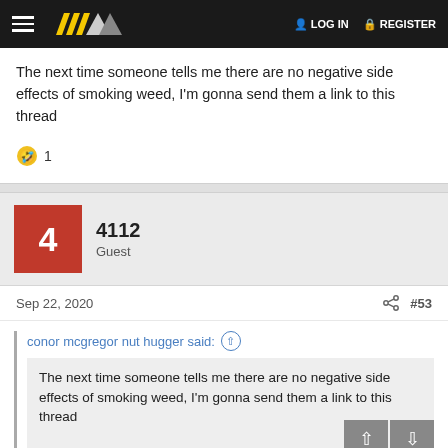LOG IN  REGISTER
The next time someone tells me there are no negative side effects of smoking weed, I'm gonna send them a link to this thread
🤣 1
4112
Guest
Sep 22, 2020  #53
conor mcgregor nut hugger said:
The next time someone tells me there are no negative side effects of smoking weed, I'm gonna send them a link to this thread